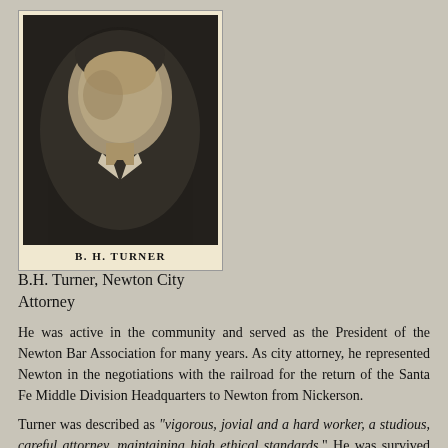[Figure (photo): Black and white portrait photograph of B.H. Turner, a man in formal attire with a white collar, mounted on cream-colored paper]
B. H. TURNER
B.H. Turner, Newton City Attorney
He was active in the community and served as the President of the Newton Bar Association for many years. As city attorney, he represented Newton in the negotiations with the railroad for the return of the Santa Fe Middle Division Headquarters to Newton from Nickerson.
Turner was described as "vigorous, jovial and a hard worker, a studious, careful attorney, maintaining high ethical standards." He was survived by his wife, Augusta, and several nieces and nephews.
Sources: